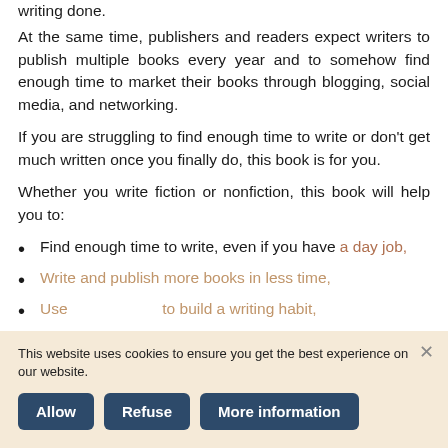writing done.
At the same time, publishers and readers expect writers to publish multiple books every year and to somehow find enough time to market their books through blogging, social media, and networking.
If you are struggling to find enough time to write or don’t get much written once you finally do, this book is for you.
Whether you write fiction or nonfiction, this book will help you to:
Find enough time to write, even if you have a day job,
Write and publish more books in less time,
Use [tools/strategies] to build a writing habit,
Cookie banner: This website uses cookies to ensure you get the best experience on our website. Buttons: Allow, Refuse, More information